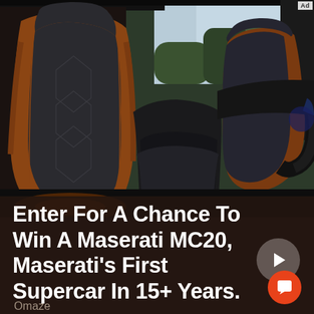[Figure (photo): Interior of a Maserati MC20 supercar showing brown leather and dark grey sport seats, center console, steering wheel, and dashboard, photographed from the driver door opening looking inward with sky visible through windshield]
Enter For A Chance To Win A Maserati MC20, Maserati's First Supercar In 15+ Years.
Omaze